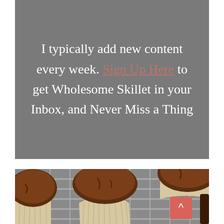I typically add new content every week. Sign Up Here to get Wholesome Skillet in your Inbox, and Never Miss a Thing
[Figure (photo): Close-up photo of chocolate muffins/cupcakes in paper liners on a cooling rack]